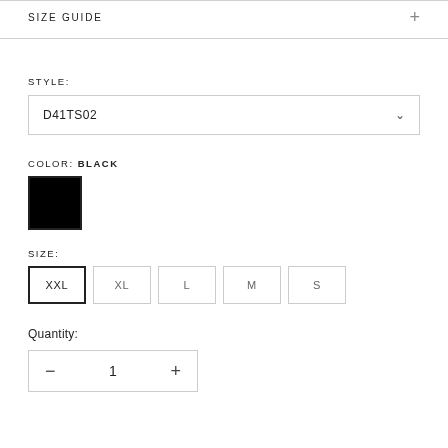SIZE GUIDE
STYLE:
D41TS02
COLOR: BLACK
[Figure (other): Black color swatch square]
SIZE:
XXL  XL  L  M  S
Quantity:
- 1 +